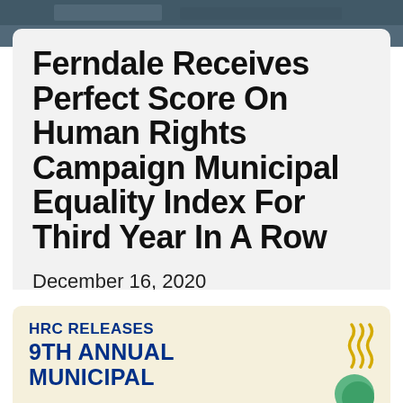[Figure (photo): Dark gray/blue blurred photo banner at top of page]
Ferndale Receives Perfect Score On Human Rights Campaign Municipal Equality Index For Third Year In A Row
December 16, 2020
[Figure (infographic): HRC banner: 'HRC RELEASES 9TH ANNUAL MUNICIPAL...' text in dark blue on cream/tan background with yellow decorative graphic on right]